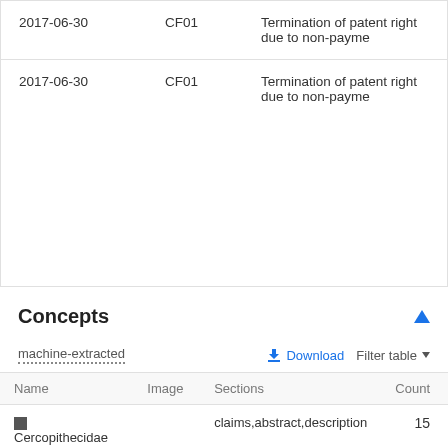| Date | Code | Description |
| --- | --- | --- |
| 2017-06-30 | CF01 | Termination of patent right due to non-payme |
| 2017-06-30 | CF01 | Termination of patent right due to non-payme |
Concepts
machine-extracted
| Name | Image | Sections | Count |
| --- | --- | --- | --- |
| Cercopithecidae |  | claims,abstract,description | 15 |
Show all concepts from the description section